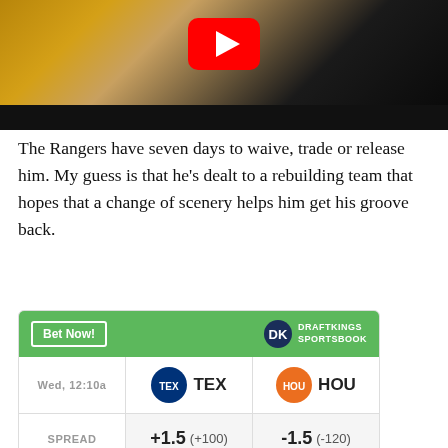[Figure (screenshot): YouTube video thumbnail showing a person's face in dark/golden tones with a YouTube play button overlay and a dark bar at the bottom]
The Rangers have seven days to waive, trade or release him. My guess is that he's dealt to a rebuilding team that hopes that a change of scenery helps him get his groove back.
[Figure (other): DraftKings Sportsbook betting widget showing TEX vs HOU matchup on Wed, 12:10a with spreads +1.5 (+100) for TEX and -1.5 (-120) for HOU]